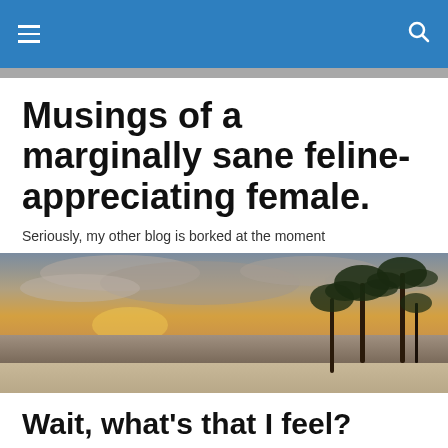[navigation bar with hamburger menu and search icon]
Musings of a marginally sane feline-appreciating female.
Seriously, my other blog is borked at the moment
[Figure (photo): Sunset beach scene with palm trees on the right side and calm water reflecting the golden sky.]
Wait, what's that I feel?
Could it be a wee bit of relaxation? A tiny bit of optimism?